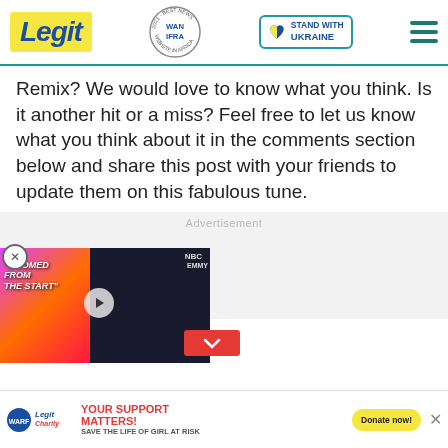Legit | WAN IFRA 2021 Best News Website in Africa | Stand With Ukraine
Remix? We would love to know what you think. Is it another hit or a miss? Feel free to let us know what you think about it in the comments section below and share this post with your friends to update them on this fabulous tune.
Advertisement
[Figure (screenshot): Video thumbnail showing two people with text 'DOOMED FROM THE START' on a colorful background, with play button overlay and NBC/Emmy logos visible]
[Figure (infographic): Bottom banner ad: Legit Charity WARF logo, 'YOUR SUPPORT MATTERS! SAVE THE LIFE OF GIRL AT RISK' text, and 'Donate now!' button]